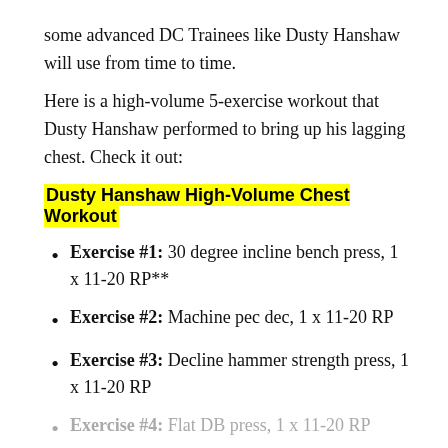some advanced DC Trainees like Dusty Hanshaw will use from time to time.
Here is a high-volume 5-exercise workout that Dusty Hanshaw performed to bring up his lagging chest. Check it out:
Dusty Hanshaw High-Volume Chest Workout
Exercise #1: 30 degree incline bench press, 1 x 11-20 RP**
Exercise #2: Machine pec dec, 1 x 11-20 RP
Exercise #3: Decline hammer strength press, 1 x 11-20 RP
Exercise #4: Flat DB press, 1 x 11-20 RP
Exercise #5: DB fly extreme stretch, 1 x 60-90